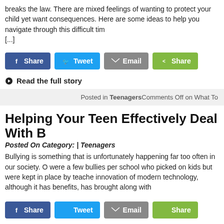breaks the law. There are mixed feelings of wanting to protect your child yet want consequences. Here are some ideas to help you navigate through this difficult tim [...]
[Figure (screenshot): Social share buttons: Facebook Share, Twitter Tweet, Email, Share (green)]
● Read the full story
Posted in TeenagersComments Off on What To
Helping Your Teen Effectively Deal With B
Posted On Category: | Teenagers
Bullying is something that is unfortunately happening far too often in our society. O were a few bullies per school who picked on kids but were kept in place by teache innovation of modern technology, although it has benefits, has brought along with
[Figure (screenshot): Social share buttons: Facebook Share, Twitter Tweet, Email, Share (green)]
● Read the full story
Posted in TeenagersComments Off on Helping Your Te
Helping Your Teen Deal With Conflict